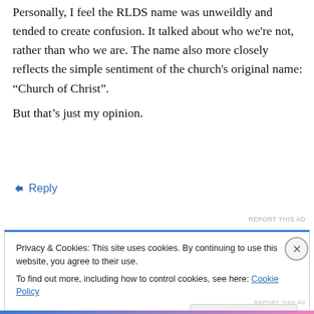Personally, I feel the RLDS name was unweildly and tended to create confusion. It talked about who we're not, rather than who we are. The name also more closely reflects the simple sentiment of the church's original name: “Church of Christ”.

But that’s just my opinion.
↵ Reply
REPORT THIS AD
Privacy & Cookies: This site uses cookies. By continuing to use this website, you agree to their use.
To find out more, including how to control cookies, see here: Cookie Policy
Close and accept